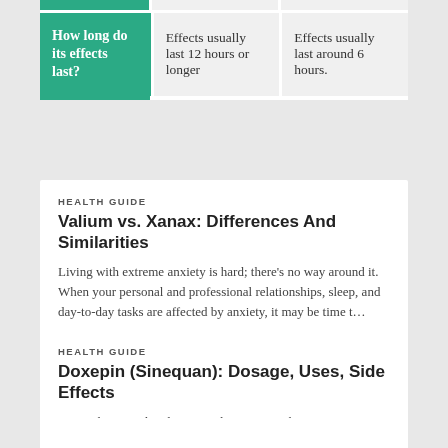|  |  |  |
| --- | --- | --- |
| How long do its effects last? | Effects usually last 12 hours or longer | Effects usually last around 6 hours. |
HEALTH GUIDE
Valium vs. Xanax: Differences And Similarities
Living with extreme anxiety is hard; there's no way around it. When your personal and professional relationships, sleep, and day-to-day tasks are affected by anxiety, it may be time t…
HEALTH GUIDE
Doxepin (Sinequan): Dosage, Uses, Side Effects
You wake up and realize it's only 3:26 a.m., but you set your alarm clock for 6 a.m. You try to fall back asleep, but you toss and turn to no avail and decide to get up, despite feeling…